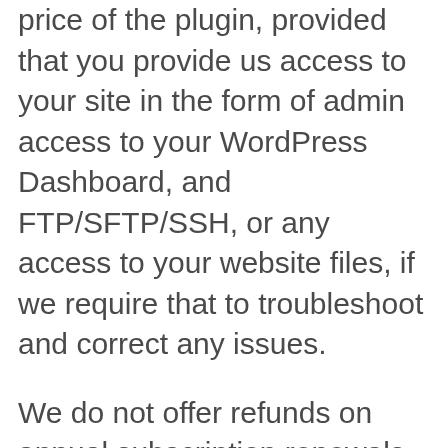price of the plugin, provided that you provide us access to your site in the form of admin access to your WordPress Dashboard, and FTP/SFTP/SSH, or any access to your website files, if we require that to troubleshoot and correct any issues.
We do not offer refunds on annual subscription renewals that are cancelled after the renewal anniversary date. You must cancel prior to the renewal anniversary date to avoid charges.
Limitations
In no event shall WP Pay Per View or its suppliers be liable for any damages (including, without